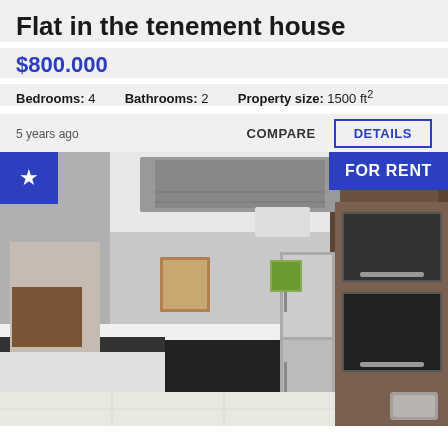Flat in the tenement house
$800.000
Bedrooms: 4    Bathrooms: 2    Property size: 1500 ft²
5 years ago
COMPARE
DETAILS
[Figure (photo): Interior photo of a modern kitchen with white countertops, black cooktop island with bar stool, stainless steel appliances, wood-paneled cabinetry, hanging wine glasses, and white tile floor. A star badge is in the top-left corner and a FOR RENT badge is in the top-right corner.]